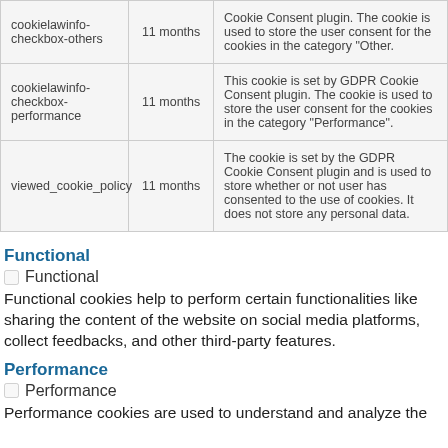| cookielawinfo-checkbox-others | 11 months | Cookie Consent plugin. The cookie is used to store the user consent for the cookies in the category "Other. |
| cookielawinfo-checkbox-performance | 11 months | This cookie is set by GDPR Cookie Consent plugin. The cookie is used to store the user consent for the cookies in the category "Performance". |
| viewed_cookie_policy | 11 months | The cookie is set by the GDPR Cookie Consent plugin and is used to store whether or not user has consented to the use of cookies. It does not store any personal data. |
Functional
☐ Functional
Functional cookies help to perform certain functionalities like sharing the content of the website on social media platforms, collect feedbacks, and other third-party features.
Performance
☐ Performance
Performance cookies are used to understand and analyze the